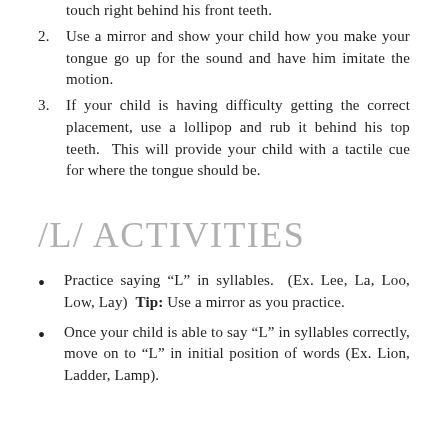touch right behind his front teeth.
Use a mirror and show your child how you make your tongue go up for the sound and have him imitate the motion.
If your child is having difficulty getting the correct placement, use a lollipop and rub it behind his top teeth.  This will provide your child with a tactile cue for where the tongue should be.
/L/ ACTIVITIES
Practice saying “L” in syllables.  (Ex. Lee, La, Loo, Low, Lay)  Tip: Use a mirror as you practice.
Once your child is able to say “L” in syllables correctly, move on to “L” in initial position of words (Ex. Lion, Ladder, Lamp).